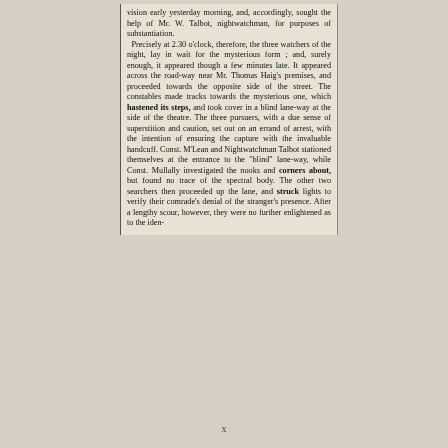vision early yesterday morning, and, accordingly, sought the help of Mr. W. Talbot, nightwatchman, for purposes of substantiation. Precisely at 2.30 o'clock, therefore, the three watchers of the night, lay in wait for the mysterious form; and, surely enough, it appeared though a few minutes late. It appeared across the road-way near Mr. Thomas Haig's premises, and proceeded towards the opposite side of the street. The constables made tracks towards the mysterious one, which hastened its steps, and took cover in a blind lane-way at the side of the theatre. The three pursuers, with a due sense of superstition and caution, set out on an errand of arrest, with the intention of ensuring the capture with the invaluable handcuff. Const. M'Lean and Nightwatchman Talbot stationed themselves at the entrance to the "blind" lane-way, while Const. Mullally investigated the nooks and corners about, but found no trace of the spectral body. The other two searchers then proceeded up the lane, and struck lights to verify their comrade's denial of the stranger's presence. After a lengthy scour, however, they were no further enlightened as to the iden-
x